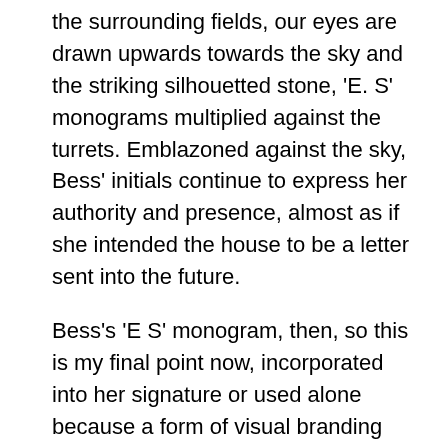the surrounding fields, our eyes are drawn upwards towards the sky and the striking silhouetted stone, 'E. S' monograms multiplied against the turrets. Emblazoned against the sky, Bess' initials continue to express her authority and presence, almost as if she intended the house to be a letter sent into the future.
Bess's 'E S' monogram, then, so this is my final point now, incorporated into her signature or used alone because a form of visual branding that followed her as Countess and Dowager Countess for over forty years, from her marriage to Shrewsbury in 1567, until her death in 1608 and beyond. It reminds us of the twin visual and linguistic roles of writing in the construction of agency and authority. And it reminds us that if we're ever to more fully appreciate how Bess